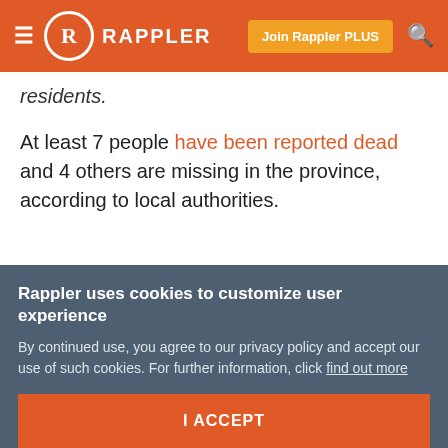RAPPLER — Join Rappler PLUS
residents.
At least 7 people have been reported dead and 4 others are missing in the province, according to local authorities.
Rappler uses cookies to customize user experience
By continued use, you agree to our privacy policy and accept our use of such cookies. For further information, click find out more
I ACCEPT